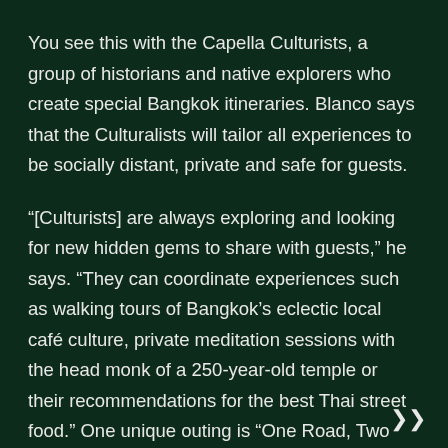You see this with the Capella Culturists, a group of historians and native explorers who create special Bangkok itineraries. Blanco says that the Culturalists will tailor all experiences to be socially distant, private and safe for guests.
“[Culturists] are always exploring and looking for new hidden gems to share with guests,” he says. “They can coordinate experiences such as walking tours of Bangkok’s eclectic local café culture, private meditation sessions with the head monk of a 250-year-old temple or their recommendations for the best Thai street food.” One unique outing is “One Road, Two Wheels,” where you ride bicycles and